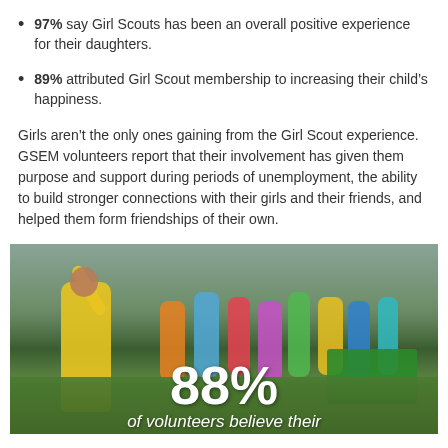97% say Girl Scouts has been an overall positive experience for their daughters.
89% attributed Girl Scout membership to increasing their child's happiness.
Girls aren't the only ones gaining from the Girl Scout experience. GSEM volunteers report that their involvement has given them purpose and support during periods of unemployment, the ability to build stronger connections with their girls and their friends, and helped them form friendships of their own.
[Figure (photo): Photo of Girl Scout volunteers and girls at an outdoor event in colorful rain gear. A woman in a yellow jacket is celebrating with arm raised. Overlaid text reads '88% of volunteers believe their']